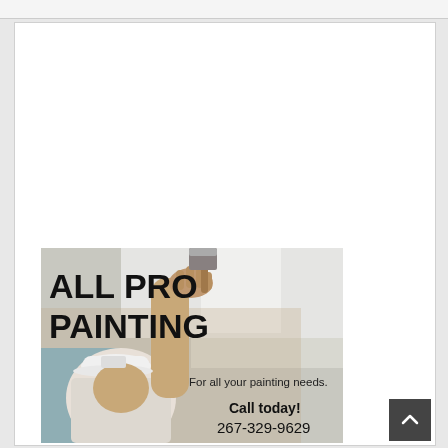[Figure (illustration): Advertisement for All Pro Painting showing a person in a white cap painting a ceiling with a brush. Text overlay reads 'ALL PRO PAINTING', 'For all your painting needs.', 'Call today!', '267-329-9629']